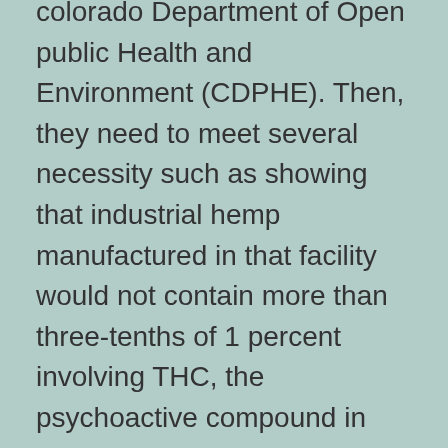colorado Department of Open public Health and Environment (CDPHE). Then, they need to meet several necessity such as showing that industrial hemp manufactured in that facility would not contain more than three-tenths of 1 percent involving THC, the psychoactive compound in cannabis that causes one particular to get large.
When you obtain from suppliers situated in Colorado or if your supplier uses other 3rd party organizations that approve that you are generally buying safe goods, you can be assured that CBD products like shower bombs,